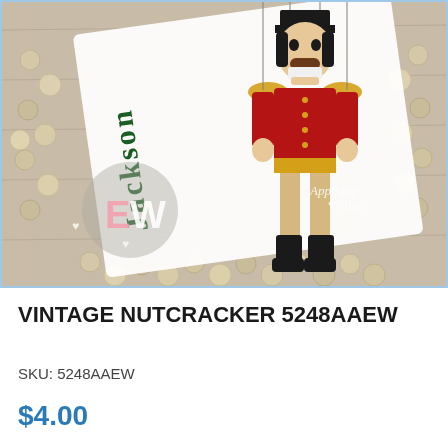[Figure (photo): Product photo of a white shirt/onesie with 'Jackson' written vertically in green script and a vintage nutcracker soldier figure applique. Wooden bead necklaces are arranged around the shirt on a wooden surface. 'EW' watermark circle in pink/white and 'Applique Alley' watermark with heart are visible.]
VINTAGE NUTCRACKER 5248AAEW
SKU: 5248AAEW
$4.00